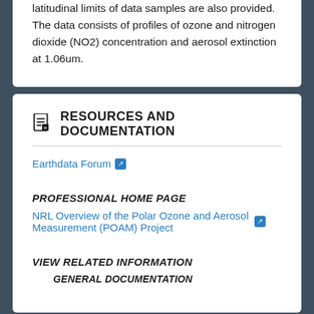latitudinal limits of data samples are also provided. The data consists of profiles of ozone and nitrogen dioxide (NO2) concentration and aerosol extinction at 1.06um.
RESOURCES AND DOCUMENTATION
Earthdata Forum
PROFESSIONAL HOME PAGE
NRL Overview of the Polar Ozone and Aerosol Measurement (POAM) Project
VIEW RELATED INFORMATION
GENERAL DOCUMENTATION